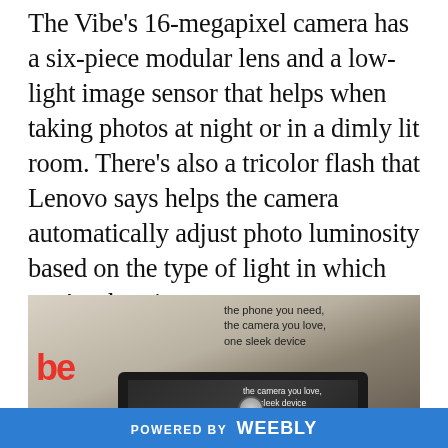The Vibe's 16-megapixel camera has a six-piece modular lens and a low-light image sensor that helps when taking photos at night or in a dimly lit room. There's also a tricolor flash that Lenovo says helps the camera automatically adjust photo luminosity based on the type of light in which you're shooting.
[Figure (photo): Photo of a Lenovo Vibe smartphone being held up in front of a marketing display sign that reads 'the phone you need, the camera you love, one sleek device'. The phone screen shows the camera app with the same sign visible on screen.]
POWERED BY Weebly